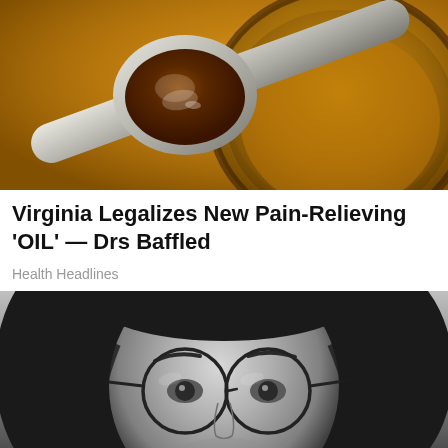[Figure (photo): Close-up photo of a spoon with dark amber oil/substance, with a glass jar of oil in the background. Warm golden-brown tones.]
Virginia Legalizes New Pain-Relieving 'OIL' — Drs Baffled
Health Headlines
[Figure (photo): Black and white close-up portrait of a young man with long hair wearing round wire-framed glasses, looking at camera with a serious expression.]
The 5 Books To Read To Transform Your